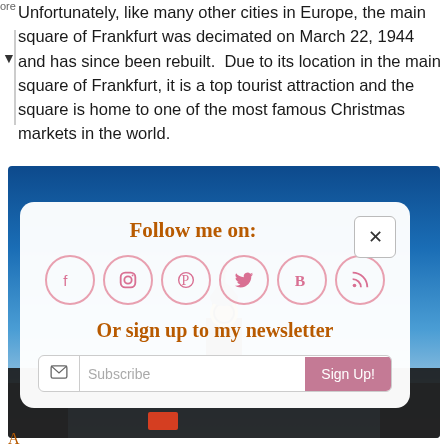Unfortunately, like many other cities in Europe, the main square of Frankfurt was decimated on March 22, 1944 and has since been rebuilt.  Due to its location in the main square of Frankfurt, it is a top tourist attraction and the square is home to one of the most famous Christmas markets in the world.
[Figure (photo): Photo of Frankfurt with a clock tower silhouette against a blue sky, overlaid with a social media follow widget. The widget has Follow me on: title in brown cursive, six social media icons (Facebook, Instagram, Pinterest, Twitter, Bloglovin, RSS) in pink circles, text 'Or sign up to my newsletter' in brown cursive, and a Subscribe email input with Sign Up! button in mauve.]